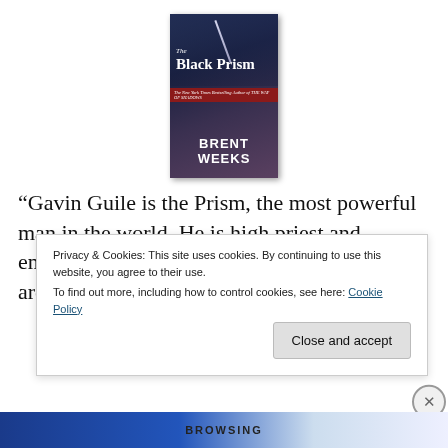[Figure (illustration): Book cover of 'The Black Prism' by Brent Weeks, showing a dark fantasy cover with a warrior figure and a sword, red band with text, author name in bold white letters at the bottom.]
“Gavin Guile is the Prism, the most powerful man in the world. He is high priest and emperor, a man whose power, wit, and charm are all that preserves a tenuous peace. But
Privacy & Cookies: This site uses cookies. By continuing to use this website, you agree to their use.
To find out more, including how to control cookies, see here: Cookie Policy
Close and accept